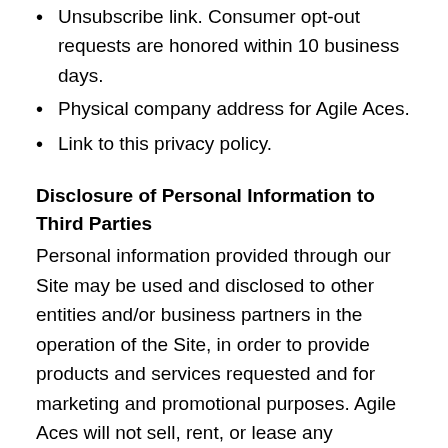Unsubscribe link. Consumer opt-out requests are honored within 10 business days.
Physical company address for Agile Aces.
Link to this privacy policy.
Disclosure of Personal Information to Third Parties
Personal information provided through our Site may be used and disclosed to other entities and/or business partners in the operation of the Site, in order to provide products and services requested and for marketing and promotional purposes. Agile Aces will not sell, rent, or lease any individually identifiable information to others without your permission. Unless we have your permission or are required by law, we will only share the personal information you provide to us with other Agile Aces entities and/or business partners who are acting on our behalf to